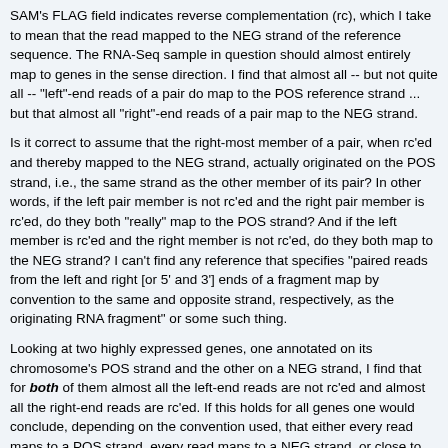SAM's FLAG field indicates reverse complementation (rc), which I take to mean that the read mapped to the NEG strand of the reference sequence. The RNA-Seq sample in question should almost entirely map to genes in the sense direction. I find that almost all -- but not quite all -- "left"-end reads of a pair do map to the POS reference strand ... but that almost all "right"-end reads of a pair map to the NEG strand.
Is it correct to assume that the right-most member of a pair, when rc'ed and thereby mapped to the NEG strand, actually originated on the POS strand, i.e., the same strand as the other member of its pair? In other words, if the left pair member is not rc'ed and the right pair member is rc'ed, do they both "really" map to the POS strand? And if the left member is rc'ed and the right member is not rc'ed, do they both map to the NEG strand? I can't find any reference that specifies "paired reads from the left and right [or 5' and 3'] ends of a fragment map by convention to the same and opposite strand, respectively, as the originating RNA fragment" or some such thing.
Looking at two highly expressed genes, one annotated on its chromosome's POS strand and the other on a NEG strand, I find that for both of them almost all the left-end reads are not rc'ed and almost all the right-end reads are rc'ed. If this holds for all genes one would conclude, depending on the convention used, that either every read maps to a POS strand, every read maps to a NEG strand, or close to half of reads are found on each strand irrespective of gene orientation. This just doesn't make sense to me, since reads stemming from transcription of these and other genes should align to the genes in the sense orientation -- i.e., they should map to the genes' strands in the reference genome.